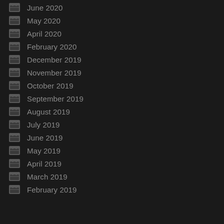June 2020
May 2020
April 2020
February 2020
December 2019
November 2019
October 2019
September 2019
August 2019
July 2019
June 2019
May 2019
April 2019
March 2019
February 2019